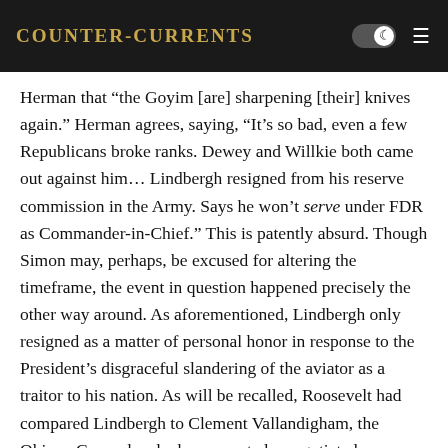Counter-Currents
Herman that “the Goyim [are] sharpening [their] knives again.” Herman agrees, saying, “It’s so bad, even a few Republicans broke ranks. Dewey and Willkie both came out against him… Lindbergh resigned from his reserve commission in the Army. Says he won’t serve under FDR as Commander-in-Chief.” This is patently absurd. Though Simon may, perhaps, be excused for altering the timeframe, the event in question happened precisely the other way around. As aforementioned, Lindbergh only resigned as a matter of personal honor in response to the President’s disgraceful slandering of the aviator as a traitor to his nation. As will be recalled, Roosevelt had compared Lindbergh to Clement Vallandigham, the Ohioan Copperhead who supported a negotiated peace with the Southern Confederacy, opposing the Lincoln Administration’s genocidal prosecution of the war. The